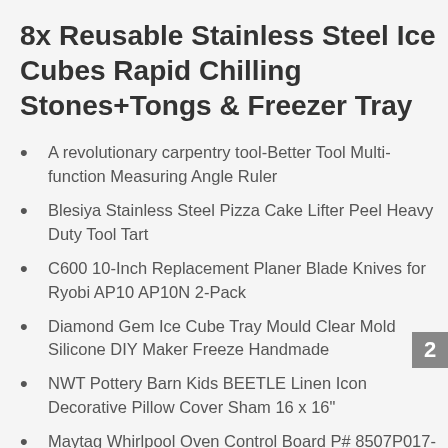8x Reusable Stainless Steel Ice Cubes Rapid Chilling Stones+Tongs & Freezer Tray
A revolutionary carpentry tool-Better Tool Multi-function Measuring Angle Ruler
Blesiya Stainless Steel Pizza Cake Lifter Peel Heavy Duty Tool Tart
C600 10-Inch Replacement Planer Blade Knives for Ryobi AP10 AP10N 2-Pack
Diamond Gem Ice Cube Tray Mould Clear Mold Silicone DIY Maker Freeze Handmade
NWT Pottery Barn Kids BEETLE Linen Icon Decorative Pillow Cover Sham 16 x 16"
Maytag Whirlpool Oven Control Board P# 8507P017-60 71003401
2 colors Korean Italy Exfoliating Body-Scrub Glove